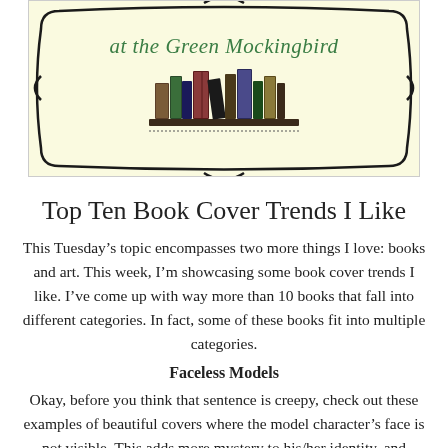[Figure (logo): Logo for 'at the Green Mockingbird' blog — decorative frame with script text and an illustration of books on a shelf, on a pale yellow background.]
Top Ten Book Cover Trends I Like
This Tuesday's topic encompasses two more things I love: books and art. This week, I'm showcasing some book cover trends I like. I've come up with way more than 10 books that fall into different categories. In fact, some of these books fit into multiple categories.
Faceless Models
Okay, before you think that sentence is creepy, check out these examples of beautiful covers where the model character's face is not visible. This adds more mystery to his/her identity, and allows you to develop your own picture